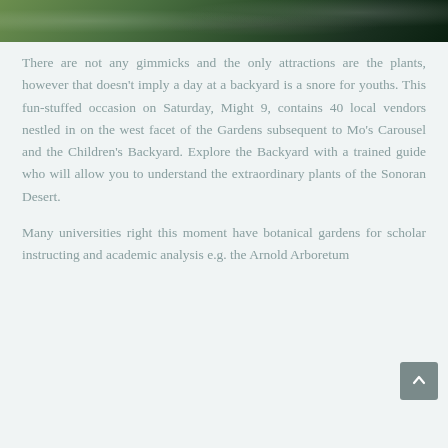[Figure (photo): Top portion of an outdoor photo showing greenery and dark background, partially cropped at the top of the page]
There are not any gimmicks and the only attractions are the plants, however that doesn't imply a day at a backyard is a snore for youths. This fun-stuffed occasion on Saturday, Might 9, contains 40 local vendors nestled in on the west facet of the Gardens subsequent to Mo's Carousel and the Children's Backyard. Explore the Backyard with a trained guide who will allow you to understand the extraordinary plants of the Sonoran Desert.
Many universities right this moment have botanical gardens for scholar instructing and academic analysis e.g. the Arnold Arboretum